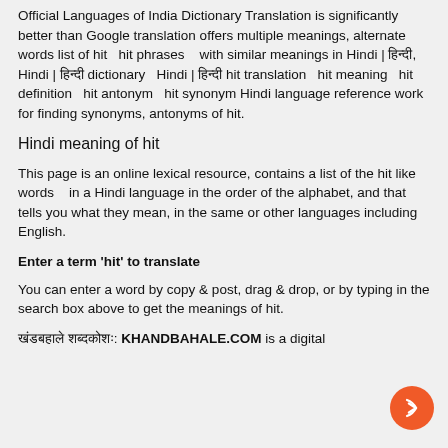Official Languages of India Dictionary Translation is significantly better than Google translation offers multiple meanings, alternate words list of hit   hit phrases    with similar meanings in Hindi | हिन्दी, Hindi | हिन्दी dictionary   Hindi | हिन्दी hit translation   hit meaning   hit definition   hit antonym   hit synonym Hindi language reference work for finding synonyms, antonyms of hit.
Hindi meaning of hit
This page is an online lexical resource, contains a list of the hit like words    in a Hindi language in the order of the alphabet, and that tells you what they mean, in the same or other languages including English.
Enter a term 'hit' to translate
You can enter a word by copy & post, drag & drop, or by typing in the search box above to get the meanings of hit.
खंडबहाले शब्दकोश: KHANDBAHALE.COM is a digital dictionary from 23 Official Languages of India...